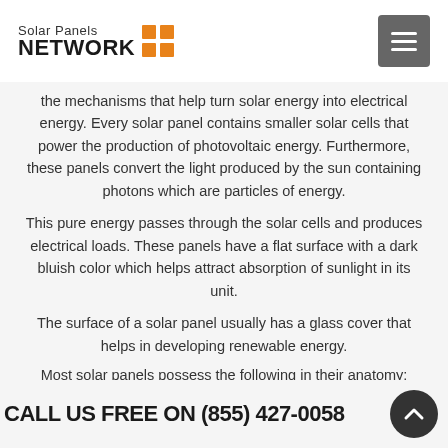Solar Panels NETWORK
the mechanisms that help turn solar energy into electrical energy. Every solar panel contains smaller solar cells that power the production of photovoltaic energy. Furthermore, these panels convert the light produced by the sun containing photons which are particles of energy.
This pure energy passes through the solar cells and produces electrical loads. These panels have a flat surface with a dark bluish color which helps attract absorption of sunlight in its unit.
The surface of a solar panel usually has a glass cover that helps in developing renewable energy.
Most solar panels possess the following in their anatomy:
Silicon layers
Conducting strips
Metal backing
Anti-reflective layers
Glass frames
When the manufacturers combine these elements, you will get a
CALL US FREE ON (855) 427-0058